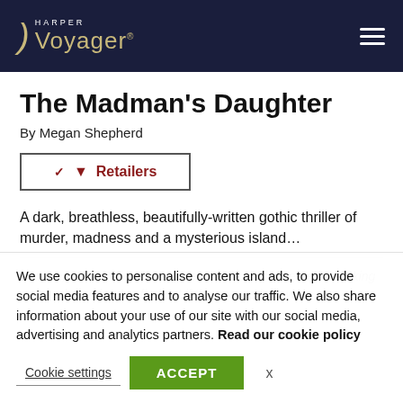Harper Voyager
The Madman's Daughter
By Megan Shepherd
Retailers
A dark, breathless, beautifully-written gothic thriller of murder, madness and a mysterious island…
We use cookies to personalise content and ads, to provide social media features and to analyse our traffic. We also share information about your use of our site with our social media, advertising and analytics partners. Read our cookie policy
Cookie settings   ACCEPT   x